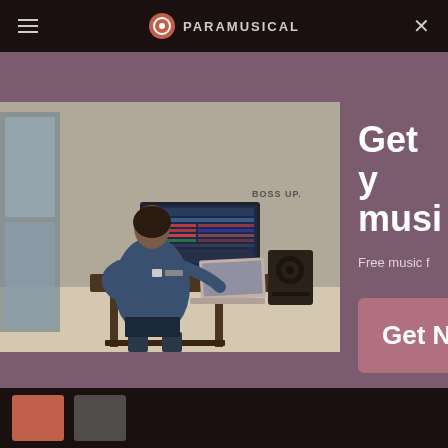PARAMUSICAL
[Figure (screenshot): Website screenshot of Paramusical showing a person working at a standing desk with a large monitor displaying music software, a laptop, and a speaker. Text 'BOSS UP.' visible on the wall. The page has a mauve/dusty purple background with navigation bar at top.]
Get y
musi
Free music f
Get N